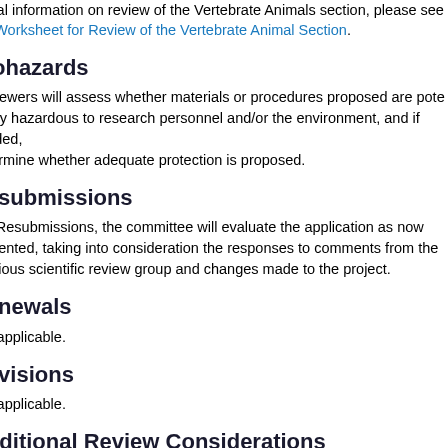itional information on review of the Vertebrate Animals section, please see the Worksheet for Review of the Vertebrate Animal Section.
Biohazards
Reviewers will assess whether materials or procedures proposed are potentially hazardous to research personnel and/or the environment, and if needed, determine whether adequate protection is proposed.
Resubmissions
For Resubmissions, the committee will evaluate the application as now presented, taking into consideration the responses to comments from the previous scientific review group and changes made to the project.
Renewals
Not applicable.
Revisions
Not applicable.
Additional Review Considerations
As applicable for the project proposed, reviewers will consider each of the following items, but will not give scores for these items, and should not consider them in determining an overall impact score.
Applications from Foreign Organizations